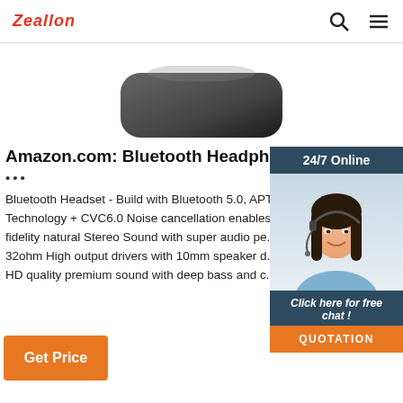Zeallon
[Figure (photo): Dark rounded rectangular product (headphone case or speaker) photographed from above against white background]
Amazon.com: Bluetooth Headphones Retrac...
•••
Bluetooth Headset - Build with Bluetooth 5.0, APT Technology + CVC6.0 Noise cancellation enables fidelity natural Stereo Sound with super audio pe... 32ohm High output drivers with 10mm speaker d... HD quality premium sound with deep bass and c...
[Figure (photo): 24/7 Online chat widget with a customer service woman wearing a headset, with 'Click here for free chat!' text and an orange QUOTATION button]
Get Price